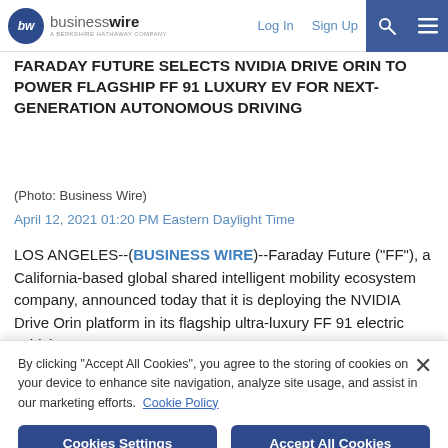businesswire — A BERKSHIRE HATHAWAY COMPANY | Log In | Sign Up
FARADAY FUTURE SELECTS NVIDIA DRIVE ORIN TO POWER FLAGSHIP FF 91 LUXURY EV FOR NEXT-GENERATION AUTONOMOUS DRIVING
(Photo: Business Wire)
April 12, 2021 01:20 PM Eastern Daylight Time
LOS ANGELES--(BUSINESS WIRE)--Faraday Future ("FF"), a California-based global shared intelligent mobility ecosystem company, announced today that it is deploying the NVIDIA Drive Orin platform in its flagship ultra-luxury FF 91 electric vehicle.
"FF aims to deliver the latest and most advanced
By clicking "Accept All Cookies", you agree to the storing of cookies on your device to enhance site navigation, analyze site usage, and assist in our marketing efforts. Cookie Policy
Cookies Settings | Accept All Cookies